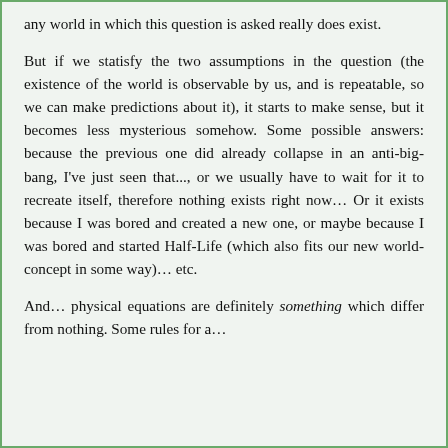any world in which this question is asked really does exist.
But if we statisfy the two assumptions in the question (the existence of the world is observable by us, and is repeatable, so we can make predictions about it), it starts to make sense, but it becomes less mysterious somehow. Some possible answers: because the previous one did already collapse in an anti-big-bang, I've just seen that..., or we usually have to wait for it to recreate itself, therefore nothing exists right now… Or it exists because I was bored and created a new one, or maybe because I was bored and started Half-Life (which also fits our new world-concept in some way)… etc.
And… physical equations are definitely something which differ from nothing. Some rules for a…